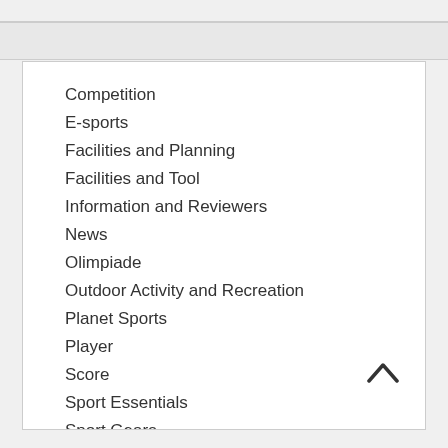Competition
E-sports
Facilities and Planning
Facilities and Tool
Information and Reviewers
News
Olimpiade
Outdoor Activity and Recreation
Planet Sports
Player
Score
Sport Essentials
Sport Gears